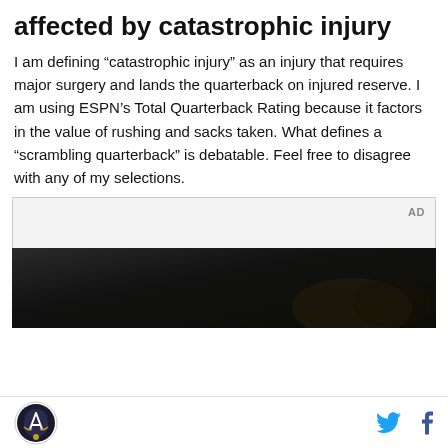affected by catastrophic injury
I am defining “catastrophic injury” as an injury that requires major surgery and lands the quarterback on injured reserve. I am using ESPN’s Total Quarterback Rating because it factors in the value of rushing and sacks taken. What defines a “scrambling quarterback” is debatable. Feel free to disagree with any of my selections.
[Figure (other): Advertisement box labeled AD with a dark image below it showing a dimly lit scene]
SB Nation logo, Twitter icon, Facebook icon